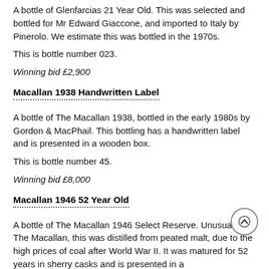A bottle of Glenfarcias 21 Year Old. This was selected and bottled for Mr Edward Giaccone, and imported to Italy by Pinerolo. We estimate this was bottled in the 1970s.
This is bottle number 023.
Winning bid £2,900
Macallan 1938 Handwritten Label
A bottle of The Macallan 1938, bottled in the early 1980s by Gordon & MacPhail. This bottling has a handwritten label and is presented in a wooden box.
This is bottle number 45.
Winning bid £8,000
Macallan 1946 52 Year Old
A bottle of The Macallan 1946 Select Reserve. Unusually for The Macallan, this was distilled from peated malt, due to the high prices of coal after World War II. It was matured for 52 years in sherry casks and is presented in a handmade wooden case. This comes with a pair of keys to